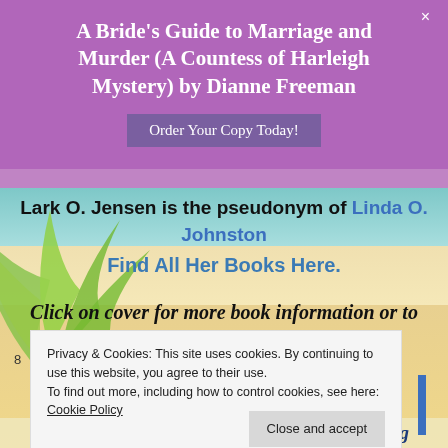A Bride's Guide to Marriage and Murder (A Countess of Harleigh Mystery) by Dianne Freeman
Order Your Copy Today!
Lark O. Jensen is the pseudonym of Linda O. Johnston
Find All Her Books Here.
Click on cover for more book information or to order from Amazon.
Privacy & Cookies: This site uses cookies. By continuing to use this website, you agree to their use.
To find out more, including how to control cookies, see here:
Cookie Policy
Close and accept
blend of wit, fun, intrigue, and mouth-watering